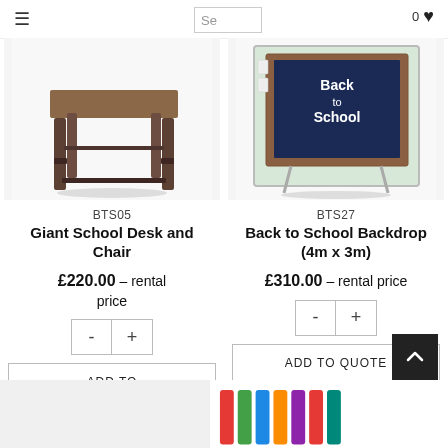≡  Se  0
[Figure (photo): Photo of a large wooden school desk and chair prop, brown/dark finish with metal footrest bars, on white background]
BTS05
Giant School Desk and Chair
£220.00 - rental price
- +
ADD TO QUOTE
[Figure (photo): Photo of a Back to School themed backdrop (4m x 3m) with chalkboard displaying 'Back to School' text, framed in a wooden/white stand]
BTS27
Back to School Backdrop (4m x 3m)
£310.00 - rental price
- +
ADD TO QUOTE
[Figure (photo): Partial view of another product at bottom of page — colorful item partially visible]